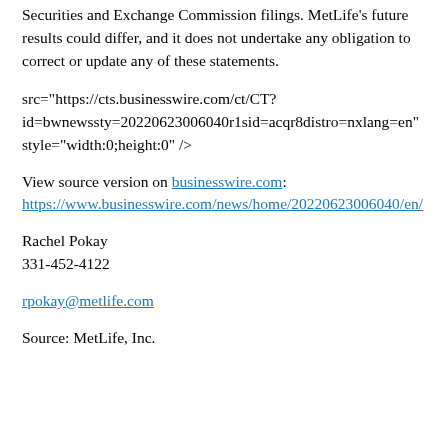Securities and Exchange Commission filings. MetLife’s future results could differ, and it does not undertake any obligation to correct or update any of these statements.
src="https://cts.businesswire.com/ct/CT?id=bwnewssty=20220623006040r1sid=acqr8distro=nxlang=en" style="width:0;height:0" />
View source version on businesswire.com: https://www.businesswire.com/news/home/20220623006040/en/
Rachel Pokay
331-452-4122
rpokay@metlife.com
Source: MetLife, Inc.